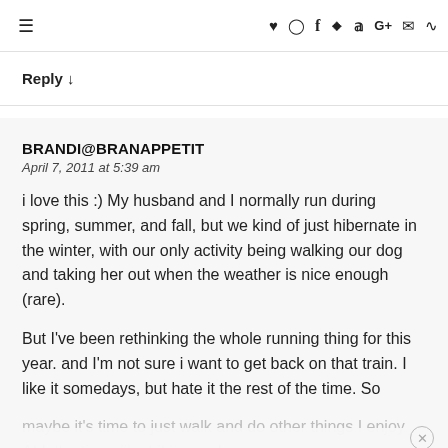≡   ♥ Instagram Facebook Pinterest Twitter G+ Email RSS
Reply ↓
BRANDI@BRANAPPETIT
April 7, 2011 at 5:39 am
i love this :) My husband and I normally run during spring, summer, and fall, but we kind of just hibernate in the winter, with our only activity being walking our dog and taking her out when the weather is nice enough (rare).
But I've been rethinking the whole running thing for this year. and I'm not sure i want to get back on that train. I like it somedays, but hate it the rest of the time. So maybe it's time to just walk and do other things I enjoy ALL the time, like hiking and yoga.